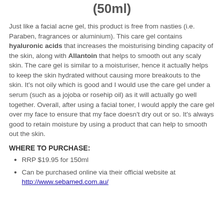(50ml)
Just like a facial acne gel, this product is free from nasties (i.e. Paraben, fragrances or aluminium). This care gel contains hyaluronic acids that increases the moisturising binding capacity of the skin, along with Allantoin that helps to smooth out any scaly skin. The care gel is similar to a moisturiser, hence it actually helps to keep the skin hydrated without causing more breakouts to the skin. It's not oily which is good and I would use the care gel under a serum (such as a jojoba or rosehip oil) as it will actually go well together. Overall, after using a facial toner, I would apply the care gel over my face to ensure that my face doesn't dry out or so. It's always good to retain moisture by using a product that can help to smooth out the skin.
WHERE TO PURCHASE:
RRP $19.95 for 150ml
Can be purchased online via their official website at http://www.sebamed.com.au/